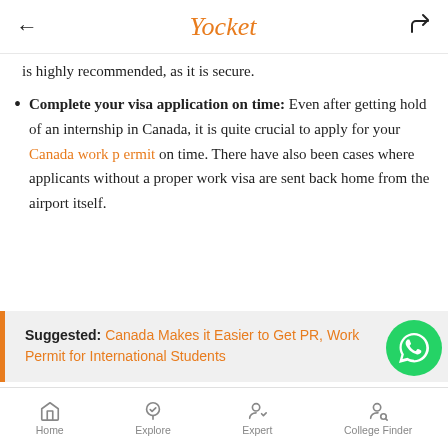Yocket
is highly recommended, as it is secure.
Complete your visa application on time: Even after getting hold of an internship in Canada, it is quite crucial to apply for your Canada work permit on time. There have also been cases where applicants without a proper work visa are sent back home from the airport itself.
Suggested: Canada Makes it Easier to Get PR, Work Permit for International Students
Home Explore Expert College Finder